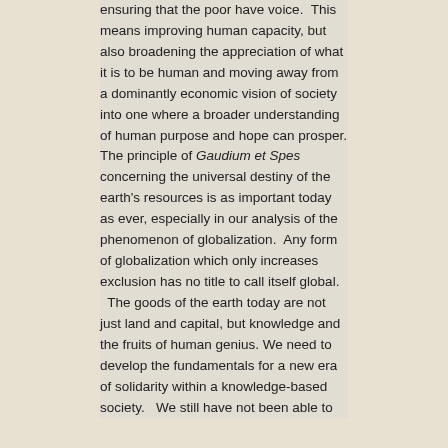ensuring that the poor have voice.  This means improving human capacity, but also broadening the appreciation of what it is to be human and moving away from a dominantly economic vision of society into one where a broader understanding of human purpose and hope can prosper. The principle of Gaudium et Spes concerning the universal destiny of the earth's resources is as important today as ever, especially in our analysis of the phenomenon of globalization.  Any form of globalization which only increases exclusion has no title to call itself global.  The goods of the earth today are not just land and capital, but knowledge and the fruits of human genius. We need to develop the fundamentals for a new era of solidarity within a knowledge-based society.  We still have not been able to